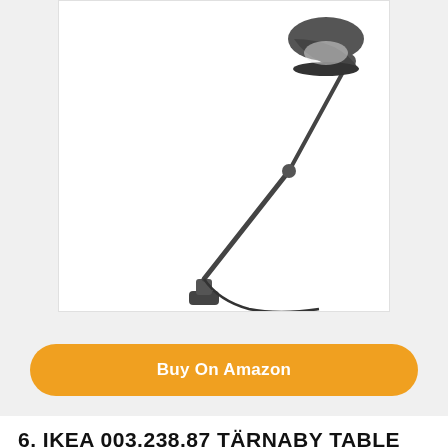[Figure (photo): Adjustable desk lamp with articulated arm, dark gray/black color, shown against white background]
Buy On Amazon
6. IKEA 003.238.87 TÄRNABY TABLE LAMP
[Figure (photo): IKEA TÄRNABY table lamp with clear glass globe shade, dark base, exposed filament bulb, lantern style, with black cord]